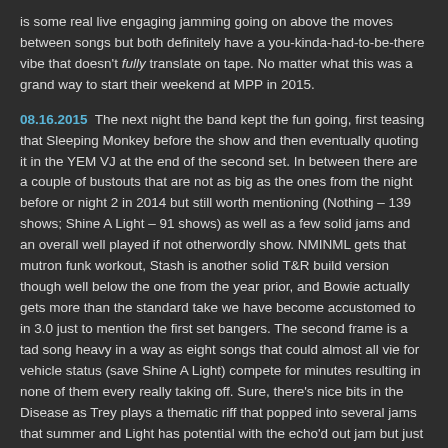is some real live engaging jamming going on above the moves between songs but both definitely have a you-kinda-had-to-be-there vibe that doesn't fully translate on tape. No matter what this was a grand way to start their weekend at MPP in 2015.
08.16.2015 The next night the band kept the fun going, first teasing that Sleeping Monkey before the show and then eventually quoting it in the YEM VJ at the end of the second set. In between there are a couple of bustouts that are not as big as the ones from the night before or night 2 in 2014 but still worth mentioning (Nothing – 139 shows; Shine A Light – 91 shows) as well as a few solid jams and an overall well played if not otherwordly show. NMINML gets that mutron funk workout, Stash is another solid T&R build version though well below the one from the year prior, and Bowie actually gets more than the standard take we have become accustomed to in 3.0 just to mention the first set bangers. The second frame is a tad song heavy in a way as eight songs that could almost all vie for vehicle status (save Shine A Light) compete for minutes resulting in none of them every really taking off. Sure, there's nice bits in the Disease as Trey plays a thematic riff that popped into several jams that summer and Light has potential with the echo'd out jam but just as that is getting interesting they move into an unjammed Twist. Oh, and there's a nice wobbly echo'd Sally before that YEM (which has a nice jam too) so check that one out. But these jamlets don't elevate this show above what it is. This is a SNS on a Sunday, unfortunately.